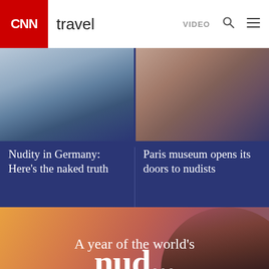CNN travel | VIDEO
[Figure (photo): Beach scene with boats on water, blue-toned overlay, CNN Travel article thumbnail for 'Nudity in Germany']
[Figure (photo): Two nude figures seen from behind, blue-toned overlay, CNN Travel article thumbnail for 'Paris museum opens its doors to nudists']
Nudity in Germany: Here's the naked truth
Paris museum opens its doors to nudists
[Figure (photo): Sunset coastal landscape with orange-red sky and cliff, hero image background]
A year of the world's